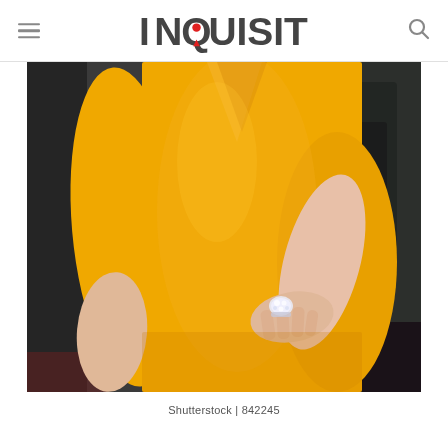INQUISITR
[Figure (photo): Close-up photo of a woman in a bright yellow sleeveless dress with a v-neckline, wearing a large diamond ring on her right hand placed on her hip. Dark blurred background with a man in a suit visible behind her.]
Shutterstock | 842245